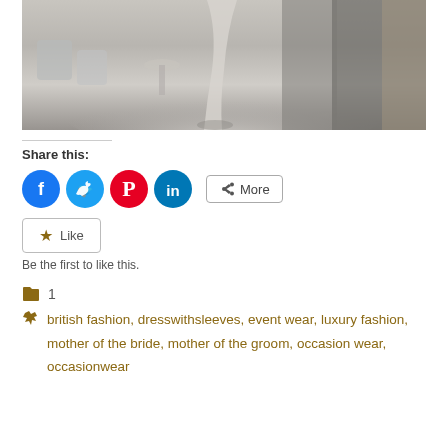[Figure (photo): Interior fashion boutique showing a floor-length gown on a mannequin or display, with silver metallic chairs and a stone/metallic wall backdrop. Grey tones throughout.]
Share this:
[Figure (infographic): Social share buttons: Facebook (blue circle), Twitter (light blue circle), Pinterest (red circle), LinkedIn (teal circle), and a More button with share icon]
[Figure (infographic): Like button with star icon]
Be the first to like this.
1
british fashion, dresswithsleeves, event wear, luxury fashion, mother of the bride, mother of the groom, occasion wear, occasionwear